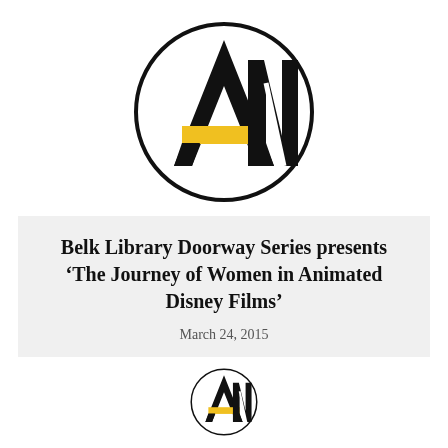[Figure (logo): Circular logo with stylized A and M letters in black with a yellow/gold horizontal bar accent inside a circle outline]
Belk Library Doorway Series presents ‘The Journey of Women in Animated Disney Films’
March 24, 2015
[Figure (logo): Partial circular logo (same design) visible at bottom of page, cropped]